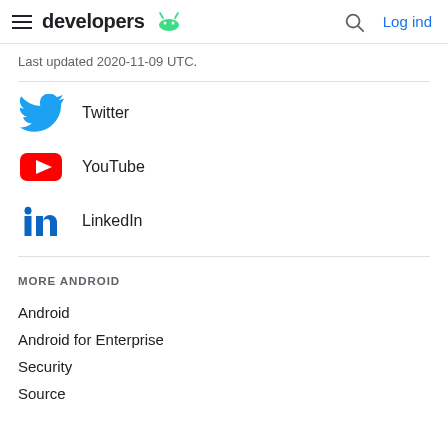developers | Log ind
Last updated 2020-11-09 UTC.
Twitter
YouTube
LinkedIn
MORE ANDROID
Android
Android for Enterprise
Security
Source